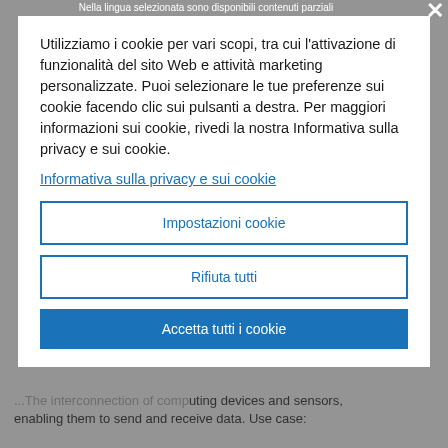Nella lingua selezionata sono disponibili contenuti parziali
Utilizziamo i cookie per vari scopi, tra cui l'attivazione di funzionalità del sito Web e attività marketing personalizzate. Puoi selezionare le tue preferenze sui cookie facendo clic sui pulsanti a destra. Per maggiori informazioni sui cookie, rivedi la nostra Informativa sulla privacy e sui cookie.
Informativa sulla privacy e sui cookie
Impostazioni cookie
Rifiuta tutti
Accetta tutti i cookie
...The interconnection of computing devices and sensors, enabling them to send and receive data. Use case: